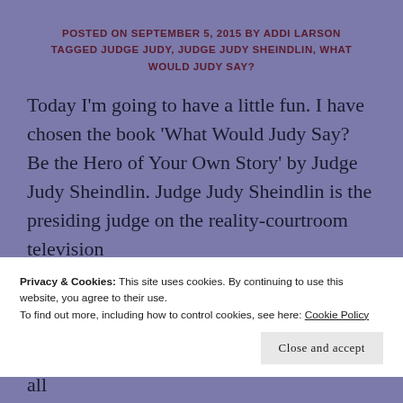POSTED ON SEPTEMBER 5, 2015 BY ADDI LARSON TAGGED JUDGE JUDY, JUDGE JUDY SHEINDLIN, WHAT WOULD JUDY SAY?
Today I'm going to have a little fun. I have chosen the book 'What Would Judy Say? Be the Hero of Your Own Story' by Judge Judy Sheindlin. Judge Judy Sheindlin is the presiding judge on the reality-courtroom television
Privacy & Cookies: This site uses cookies. By continuing to use this website, you agree to their use.
To find out more, including how to control cookies, see here: Cookie Policy
new adventure, and I don't need to have it all